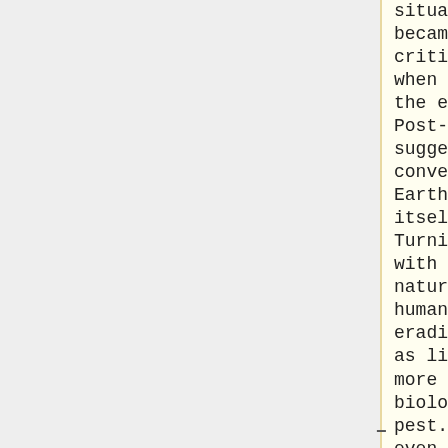situation became critical when one of the early Post-Humans suggested converting Earth itself into Turnium with the natural humans eradicated as little more than a biological pest. Some even suggested that
rical Essay: The Crisis of 2163